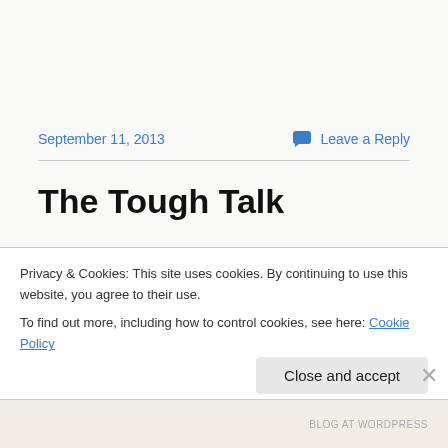September 11, 2013
Leave a Reply
The Tough Talk
Tonight I had to have that tough talk with my son about death. As a father you always look for opportunities to
Privacy & Cookies: This site uses cookies. By continuing to use this website, you agree to their use.
To find out more, including how to control cookies, see here: Cookie Policy
Close and accept